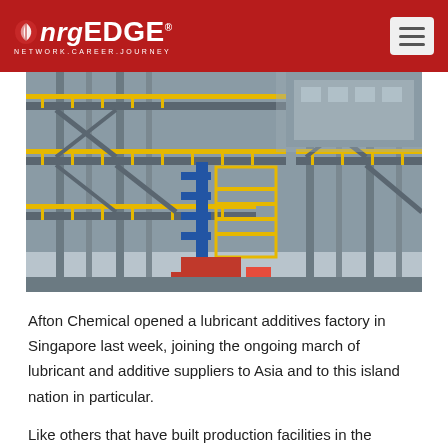nrgEDGE — NETWORK.CAREER.JOURNEY
[Figure (photo): Industrial chemical plant or refinery structure with steel scaffolding, yellow guardrails, and blue piping, photographed from below looking up.]
Afton Chemical opened a lubricant additives factory in Singapore last week, joining the ongoing march of lubricant and additive suppliers to Asia and to this island nation in particular.
Like others that have built production facilities in the